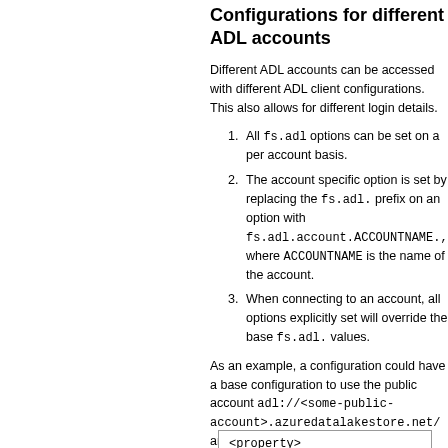Configurations for different ADL accounts
Different ADL accounts can be accessed with different ADL client configurations. This also allows for different login details.
All fs.adl options can be set on a per account basis.
The account specific option is set by replacing the fs.adl. prefix on an option with fs.adl.account.ACCOUNTNAME., where ACCOUNTNAME is the name of the account.
When connecting to an account, all options explicitly set will override the base fs.adl. values.
As an example, a configuration could have a base configuration to use the public account adl://<some-public-account>.azuredatalakestore.net/ and an account-specific configuration to use some private account adl://myprivateaccount.azuredatala…
<property>